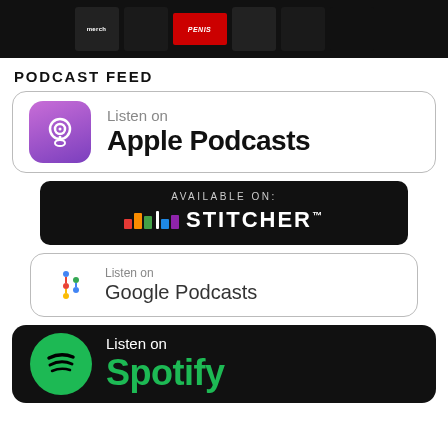[Figure (photo): Top banner with dark background showing merchandise/shirts including a red branded banner in the center]
PODCAST FEED
[Figure (logo): Listen on Apple Podcasts badge with purple podcast icon]
[Figure (logo): Available on Stitcher badge with dark background and colorful bar logo]
[Figure (logo): Listen on Google Podcasts badge with colorful microphone dot icon]
[Figure (logo): Listen on Spotify badge with dark background, green Spotify logo and green text]